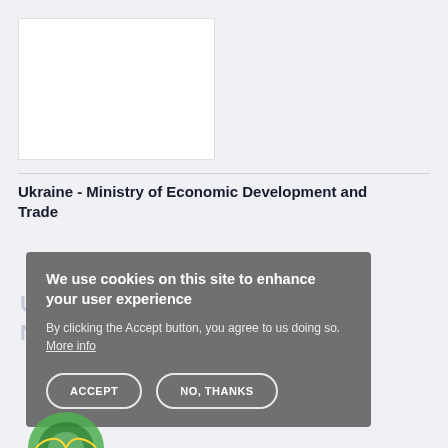[Figure (screenshot): White rectangular image placeholder area in the top-left of the page]
Ukraine - Ministry of Economic Development and Trade
We use cookies on this site to enhance your user experience
By clicking the Accept button, you agree to us doing so. More info
ACCEPT  NO, THANKS
[Figure (logo): Green circular logo partially visible at the bottom of the page]